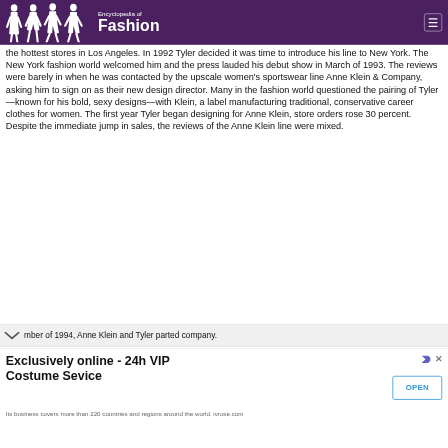Encyclopedia of Fashion
the hottest stores in Los Angeles. In 1992 Tyler decided it was time to introduce his line to New York. The New York fashion world welcomed him and the press lauded his debut show in March of 1993. The reviews were barely in when he was contacted by the upscale women's sportswear line Anne Klein & Company, asking him to sign on as their new design director. Many in the fashion world questioned the pairing of Tyler—known for his bold, sexy designs—with Klein, a label manufacturing traditional, conservative career clothes for women. The first year Tyler began designing for Anne Klein, store orders rose 30 percent. Despite the immediate jump in sales, the reviews of the Anne Klein line were mixed.
mber of 1994, Anne Klein and Tyler parted company.
Exclusively online - 24h VIP Costume Sevice
Its business covers more than 220 countries and regions around the world. ivrose.com